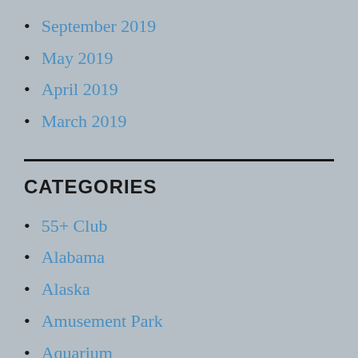September 2019
May 2019
April 2019
March 2019
CATEGORIES
55+ Club
Alabama
Alaska
Amusement Park
Aquarium